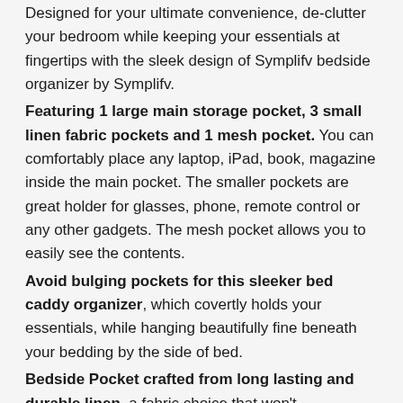Designed for your ultimate convenience, de-clutter your bedroom while keeping your essentials at fingertips with the sleek design of Symplifv bedside organizer by Symplifv.
Featuring 1 large main storage pocket, 3 small linen fabric pockets and 1 mesh pocket. You can comfortably place any laptop, iPad, book, magazine inside the main pocket. The smaller pockets are great holder for glasses, phone, remote control or any other gadgets. The mesh pocket allows you to easily see the contents.
Avoid bulging pockets for this sleeker bed caddy organizer, which covertly holds your essentials, while hanging beautifully fine beneath your bedding by the side of bed.
Bedside Pocket crafted from long lasting and durable linen, a fabric choice that won't compromise your health or the planet's.